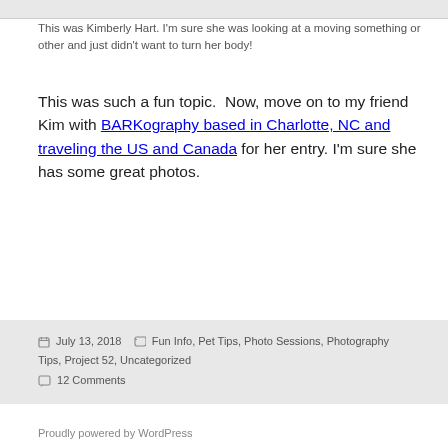[Figure (photo): Partial image at top of page (cropped, mostly cut off)]
This was Kimberly Hart. I'm sure she was looking at a moving something or other and just didn't want to turn her body!
This was such a fun topic.  Now, move on to my friend Kim with BARKography based in Charlotte, NC and traveling the US and Canada for her entry.  I'm sure she has some great photos.
Posted July 13, 2018  Categories Fun Info, Pet Tips, Photo Sessions, Photography Tips, Project 52, Uncategorized  12 Comments
Proudly powered by WordPress